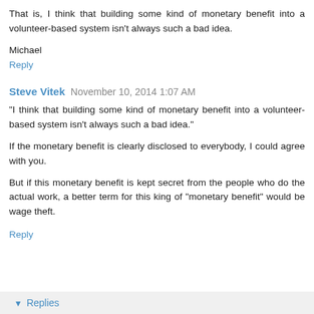That is, I think that building some kind of monetary benefit into a volunteer-based system isn't always such a bad idea.
Michael
Reply
Steve Vitek  November 10, 2014 1:07 AM
"I think that building some kind of monetary benefit into a volunteer-based system isn't always such a bad idea."
If the monetary benefit is clearly disclosed to everybody, I could agree with you.
But if this monetary benefit is kept secret from the people who do the actual work, a better term for this king of "monetary benefit" would be wage theft.
Reply
Replies